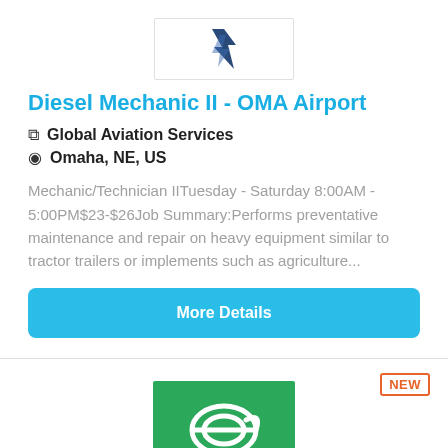[Figure (logo): Global Aviation Services logo - dark blue bird/lightning bolt silhouette on white background]
Diesel Mechanic II - OMA Airport
Global Aviation Services
Omaha, NE, US
Mechanic/Technician IITuesday - Saturday 8:00AM - 5:00PM$23-$26Job Summary:Performs preventative maintenance and repair on heavy equipment similar to tractor trailers or implements such as agriculture...
More Details
[Figure (logo): Green square logo with white circular arrow/e symbol - company logo for second job listing]